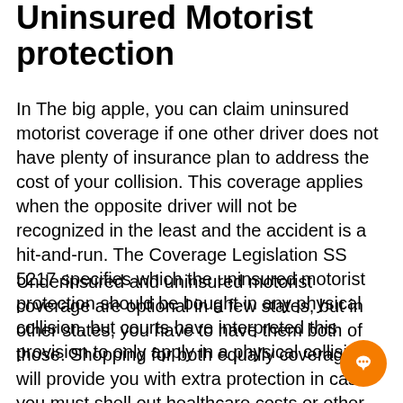Uninsured Motorist protection
In The big apple, you can claim uninsured motorist coverage if one other driver does not have plenty of insurance plan to address the cost of your collision. This coverage applies when the opposite driver will not be recognized in the least and the accident is a hit-and-run. The Coverage Legislation SS 5217 specifies which the uninsured motorist protection should be bought in any physical collision, but courts have interpreted this provision to only apply in a physical collision.
Underinsured and uninsured motorist coverage are optional in a few states, but in other states, you have to have them both of those. Shopping for both equally coverages will provide you with extra protection in case you must shell out healthcare costs or other expenses. If the uninsured driver leaves you using a weakened automobile, the uninsured motorist coverage can buy the repairs. Although this